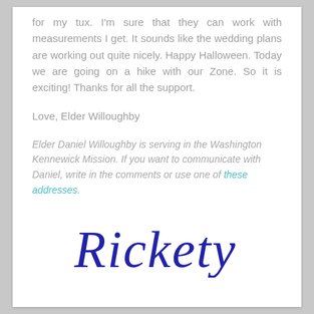for my tux. I'm sure that they can work with measurements I get. It sounds like the wedding plans are working out quite nicely. Happy Halloween. Today we are going on a hike with our Zone. So it is exciting! Thanks for all the support.
Love, Elder Willoughby
Elder Daniel Willoughby is serving in the Washington Kennewick Mission. If you want to communicate with Daniel, write in the comments or use one of these addresses.
[Figure (illustration): Cursive signature reading 'Rickety' in dark blue ink]